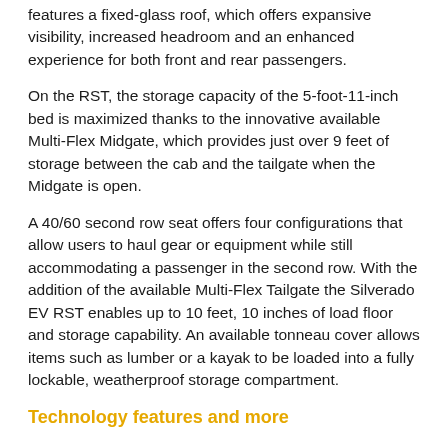features a fixed-glass roof, which offers expansive visibility, increased headroom and an enhanced experience for both front and rear passengers.
On the RST, the storage capacity of the 5-foot-11-inch bed is maximized thanks to the innovative available Multi-Flex Midgate, which provides just over 9 feet of storage between the cab and the tailgate when the Midgate is open.
A 40/60 second row seat offers four configurations that allow users to haul gear or equipment while still accommodating a passenger in the second row. With the addition of the available Multi-Flex Tailgate the Silverado EV RST enables up to 10 feet, 10 inches of load floor and storage capability. An available tonneau cover allows items such as lumber or a kayak to be loaded into a fully lockable, weatherproof storage compartment.
Technology features and more